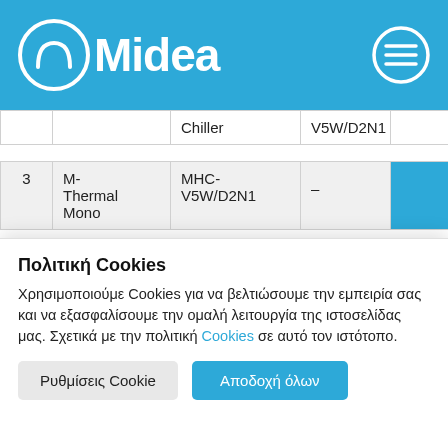Midea
|  |  | Chiller | V5W/D2N1 |  |
| --- | --- | --- | --- | --- |
| 3 | M-Thermal Mono | MHC-V5W/D2N1 | – |  |
| 4 | M- | MHC- |  |  |
Πολιτική Cookies
Χρησιμοποιούμε Cookies για να βελτιώσουμε την εμπειρία σας και να εξασφαλίσουμε την ομαλή λειτουργία της ιστοσελίδας μας. Σχετικά με την πολιτική Cookies σε αυτό τον ιστότοπο.
Ρυθμίσεις Cookie
Αποδοχή όλων